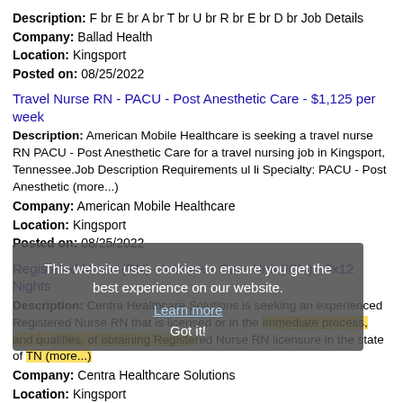Description: F br E br A br T br U br R br E br D br Job Details
Company: Ballad Health
Location: Kingsport
Posted on: 08/25/2022
Travel Nurse RN - PACU - Post Anesthetic Care - $1,125 per week
Description: American Mobile Healthcare is seeking a travel nurse RN PACU - Post Anesthetic Care for a travel nursing job in Kingsport, Tennessee.Job Description Requirements ul li Specialty: PACU - Post Anesthetic (more...)
Company: American Mobile Healthcare
Location: Kingsport
Posted on: 08/25/2022
Registered Nurse (RN) - Intensive Care Unit (ICU) - 3x12 Nights
Description: Centra Healthcare Solutions is seeking an experienced Registered Nurse RN that is licensed or in the immediate process, and qualifies, of obtaining Registered Nurse RN licensure in the state of TN (more...)
Company: Centra Healthcare Solutions
Location: Kingsport
Posted on: 08/25/2022